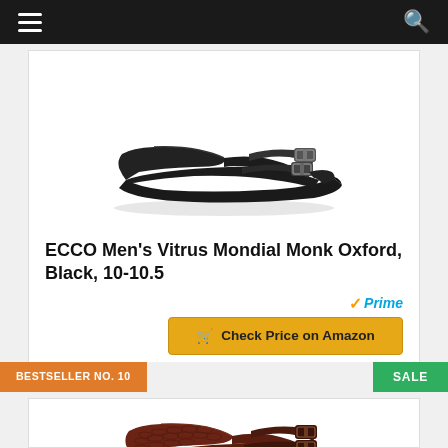Navigation bar with menu and search icons
[Figure (photo): ECCO Men's Vitrus Mondial Monk Oxford shoe in black leather with double monk strap buckles, shown from the side on white background]
ECCO Men's Vitrus Mondial Monk Oxford, Black, 10-10.5
[Figure (logo): Amazon Prime badge with orange checkmark and blue italic Prime text]
Check Price on Amazon
BESTSELLER NO. 10
SALE
[Figure (photo): Dark brown/oxblood leather double monk strap shoe with textured crocodile-patterned toe cap, partially visible at bottom of page]